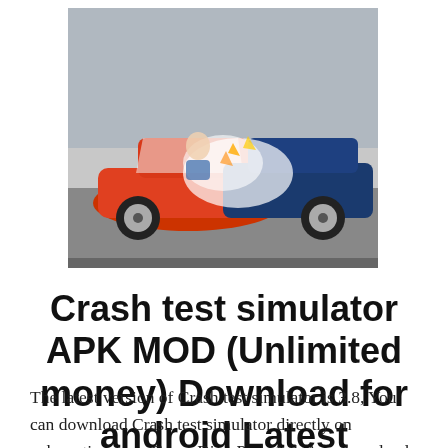[Figure (photo): A car crash test photo showing two cars colliding — one orange/red and one blue/dark — with a crash test dummy visible inside during the impact.]
Crash test simulator APK MOD (Unlimited money) Download for android Latest
The latest version of Crash test simulator is 3.8, You can download Crash test simulator directly on apkmartins.com. Crazy Dino Park Apk App download. More than 500,000+ is playing this